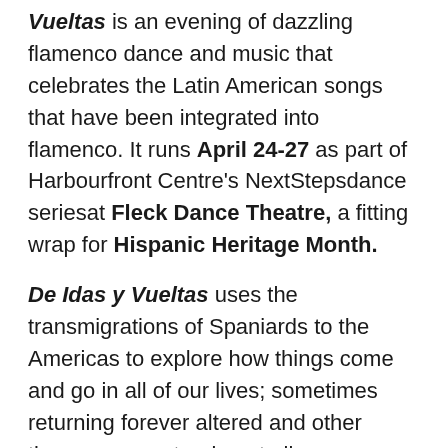Vueltas is an evening of dazzling flamenco dance and music that celebrates the Latin American songs that have been integrated into flamenco. It runs April 24-27 as part of Harbourfront Centre's NextStepsdance seriesat Fleck Dance Theatre, a fitting wrap for Hispanic Heritage Month.
De Idas y Vueltas uses the transmigrations of Spaniards to the Americas to explore how things come and go in all of our lives; sometimes returning forever altered and other times, never returning at all.
“Our presentations seek to promote a better understanding of Spanish history, culture and ideas, while illustrating its complexities and inclusiveness,” says Artistic Director Esmeralda Enrique. The Latin American songs used in flamenco speak of the nostalgia of the immigrant